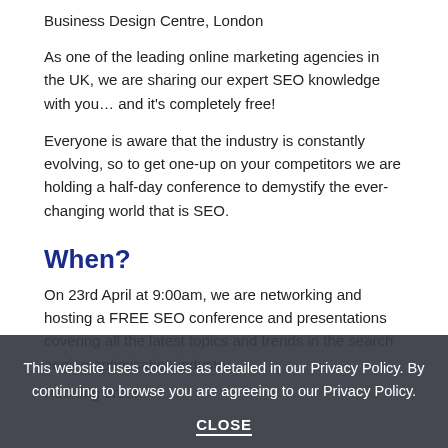Business Design Centre, London
As one of the leading online marketing agencies in the UK, we are sharing our expert SEO knowledge with you… and it's completely free!
Everyone is aware that the industry is constantly evolving, so to get one-up on your competitors we are holding a half-day conference to demystify the ever-changing world that is SEO.
When?
On 23rd April at 9:00am, we are networking and hosting a FREE SEO conference and presentations covering all the latest topics and trends in the search engine optimisation industry.
Running order:
This website uses cookies as detailed in our Privacy Policy. By continuing to browse you are agreeing to our Privacy Policy. CLOSE